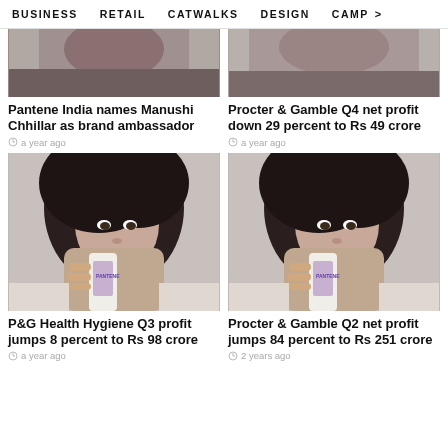BUSINESS   RETAIL   CATWALKS   DESIGN   CAMP >
[Figure (photo): Top portion of a woman with dark hair, partial face visible — Pantene brand ambassador article image]
Pantene India names Manushi Chhillar as brand ambassador
a year ago
[Figure (photo): Top portion of a woman with dark hair, partial face and hand visible — Procter & Gamble Q4 article image]
Procter & Gamble Q4 net profit down 29 percent to Rs 49 crore
a year ago
[Figure (photo): Woman with dark hair holding a Pantene bottle near her face against grey background — P&G Health Hygiene Q3 article image]
P&G Health Hygiene Q3 profit jumps 8 percent to Rs 98 crore
a year ago
[Figure (photo): Woman with dark hair holding a Pantene bottle near her face against grey background — Procter & Gamble Q2 article image]
Procter & Gamble Q2 net profit jumps 84 percent to Rs 251 crore
2 years ago